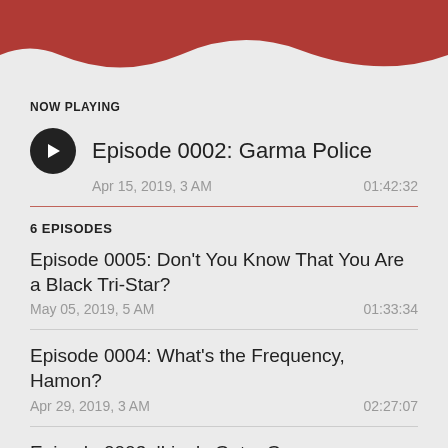[Figure (illustration): Dark red/crimson wave decoration at top of page]
NOW PLAYING
Episode 0002: Garma Police
Apr 15, 2019, 3 AM    01:42:32
6 EPISODES
Episode 0005: Don't You Know That You Are a Black Tri-Star?
May 05, 2019, 5 AM    01:33:34
Episode 0004: What's the Frequency, Hamon?
Apr 29, 2019, 3 AM    02:27:07
Episode 0003: 'Lina's Got a Gun
Apr 21, 2019, 10 PM    01:34:37